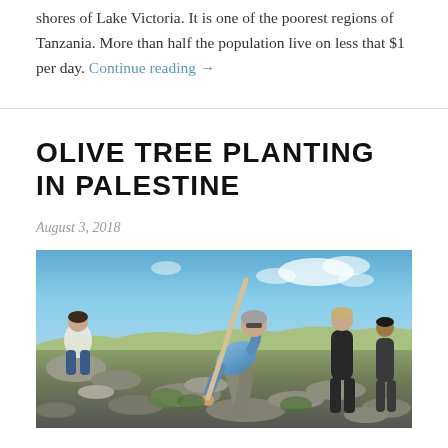shores of Lake Victoria. It is one of the poorest regions of Tanzania. More than half the population live on less that $1 per day. Continue reading →
OLIVE TREE PLANTING IN PALESTINE
August 3, 2018
[Figure (photo): People planting olive trees on a rocky hillside in Palestine. A man in a blue shirt bends forward using a wooden stick/tool while working among rocks and stones. Another person sits on rocks in the background on the left, and additional people stand on the right side. Blue sky with clouds visible in the background.]